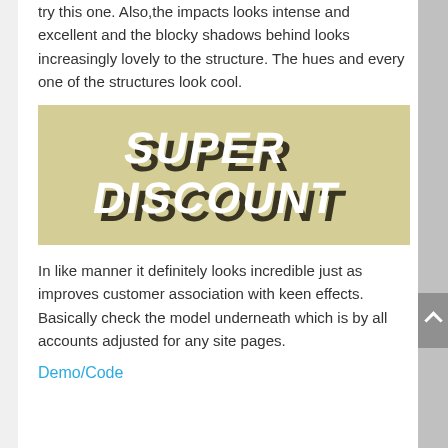try this one. Also,the impacts looks intense and excellent and the blocky shadows behind looks increasingly lovely to the structure. The hues and every one of the structures look cool.
[Figure (illustration): A promotional graphic with tan/khaki background showing 3D bold white text reading 'SUPER DISCOUNT' with dark brown blocky drop shadows, tilted at an angle.]
In like manner it definitely looks incredible just as improves customer association with keen effects. Basically check the model underneath which is by all accounts adjusted for any site pages.
Demo/Code